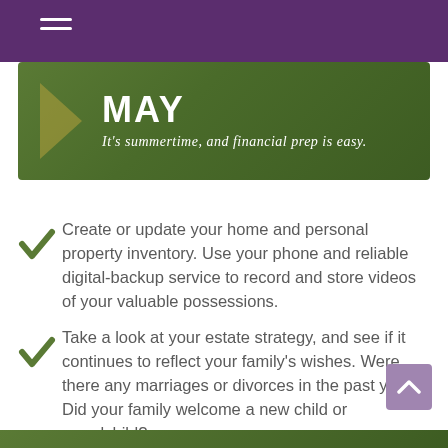MAY — It's summertime, and financial prep is easy.
Create or update your home and personal property inventory. Use your phone and reliable digital-backup service to record and store videos of your valuable possessions.
Take a look at your estate strategy, and see if it continues to reflect your family's wishes. Were there any marriages or divorces in the past year? Did your family welcome a new child or grandchild?